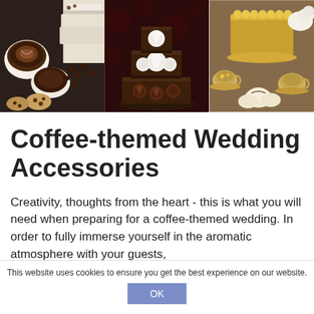[Figure (photo): Three-panel photo strip showing coffee-themed wedding cakes and accessories: left panel shows coffee cups, chocolate chip cookies, and a white layered cake; center panel shows a dark chocolate wedding cake with white rose decorations on a floral background; right panel shows a golden cake tier with vintage teacups and cream desserts.]
Coffee-themed Wedding Accessories
Creativity, thoughts from the heart - this is what you will need when preparing for a coffee-themed wedding. In order to fully immerse yourself in the aromatic atmosphere with your guests,
This website uses cookies to ensure you get the best experience on our website.